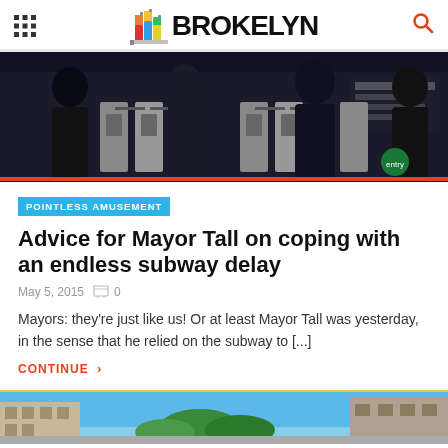BROKELYN
[Figure (photo): People at subway turnstiles in a dark NYC subway station]
POINTLESS AMUSEMENT
Advice for Mayor Tall on coping with an endless subway delay
May 5, 2015  0
Mayors: they're just like us! Or at least Mayor Tall was yesterday, in the sense that he relied on the subway to [...]
CONTINUE
[Figure (photo): Partial view of a street scene with blue sky]